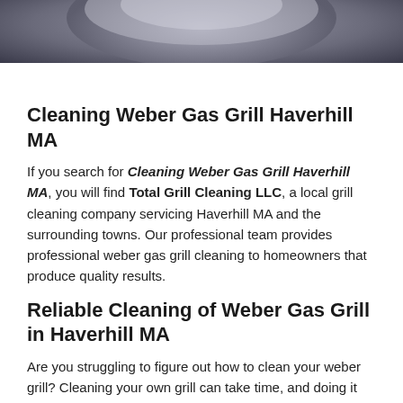[Figure (photo): Partial photo of a weber gas grill, showing the top/lid portion, cropped at the top of the page]
Cleaning Weber Gas Grill Haverhill MA
If you search for Cleaning Weber Gas Grill Haverhill MA, you will find Total Grill Cleaning LLC, a local grill cleaning company servicing Haverhill MA and the surrounding towns. Our professional team provides professional weber gas grill cleaning to homeowners that produce quality results.
Reliable Cleaning of Weber Gas Grill in Haverhill MA
Are you struggling to figure out how to clean your weber grill? Cleaning your own grill can take time, and doing it yourself does not guarantee the success your grill needs. Take the stress out of grill cleaning and rely on